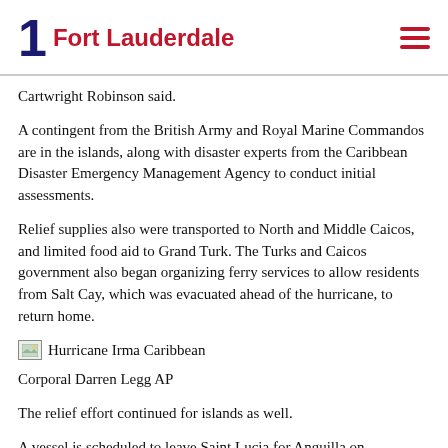1 Fort Lauderdale
Cartwright Robinson said.
A contingent from the British Army and Royal Marine Commandos are in the islands, along with disaster experts from the Caribbean Disaster Emergency Management Agency to conduct initial assessments.
Relief supplies also were transported to North and Middle Caicos, and limited food aid to Grand Turk. The Turks and Caicos government also began organizing ferry services to allow residents from Salt Cay, which was evacuated ahead of the hurricane, to return home.
[Figure (photo): Hurricane Irma Caribbean photo placeholder]
Corporal Darren Legg AP
The relief effort continued for islands as well.
A vessel is scheduled to leave Saint Lucia for Anguilla on Wednesday, and St. Lucians are being urged to donate much needed hurricane relief items to be loaded onto the vessel.